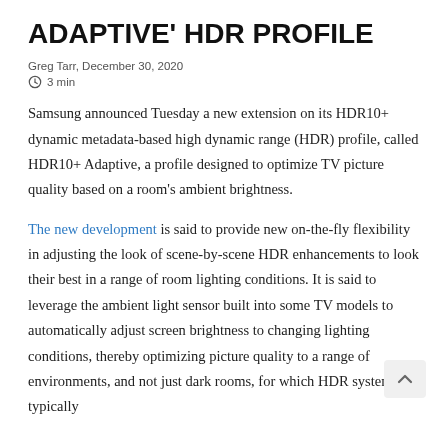ADAPTIVE' HDR PROFILE
Greg Tarr, December 30, 2020
3 min
Samsung announced Tuesday a new extension on its HDR10+ dynamic metadata-based high dynamic range (HDR) profile, called HDR10+ Adaptive, a profile designed to optimize TV picture quality based on a room's ambient brightness.
The new development is said to provide new on-the-fly flexibility in adjusting the look of scene-by-scene HDR enhancements to look their best in a range of room lighting conditions. It is said to leverage the ambient light sensor built into some TV models to automatically adjust screen brightness to changing lighting conditions, thereby optimizing picture quality to a range of environments, and not just dark rooms, for which HDR systems are typically